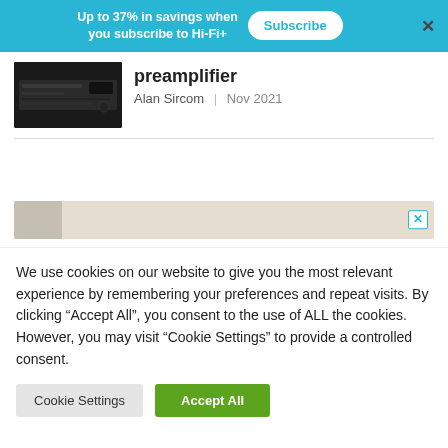Up to 37% in savings when you subscribe to Hi-Fi+  Subscribe  ×
[Figure (photo): Black hi-fi preamplifier unit thumbnail image]
preamplifier
Alan Sircom | Nov 2021
[Figure (other): Advertisement banner with close button]
We use cookies on our website to give you the most relevant experience by remembering your preferences and repeat visits. By clicking "Accept All", you consent to the use of ALL the cookies. However, you may visit "Cookie Settings" to provide a controlled consent.
Cookie Settings    Accept All